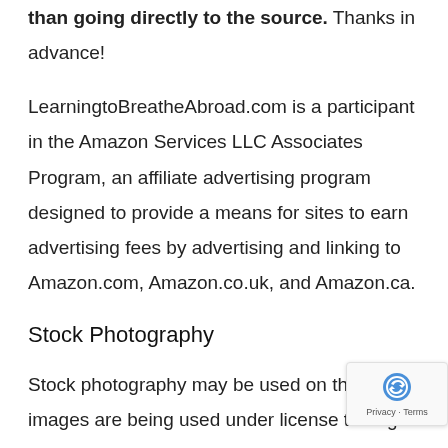than going directly to the source. Thanks in advance!
LearningtoBreatheAbroad.com is a participant in the Amazon Services LLC Associates Program, an affiliate advertising program designed to provide a means for sites to earn advertising fees by advertising and linking to Amazon.com, Amazon.co.uk, and Amazon.ca.
Stock Photography
Stock photography may be used on the Site. images are being used under license throug